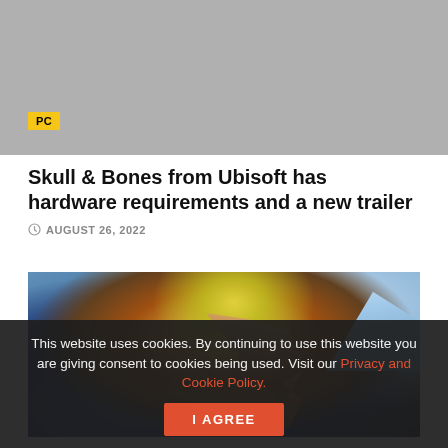[Figure (photo): Gray placeholder image at top of page with a yellow PC badge label]
Skull & Bones from Ubisoft has hardware requirements and a new trailer
AUGUST 26, 2022
[Figure (photo): Game screenshot showing a spiky creature/weapon with yellow energy effects, mountains in background, dramatic lighting]
This website uses cookies. By continuing to use this website you are giving consent to cookies being used. Visit our Privacy and Cookie Policy.
I Agree